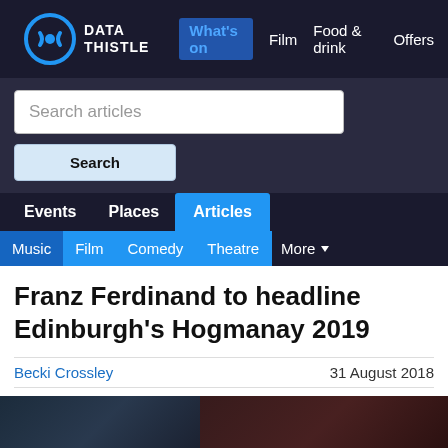DATA THISTLE — What's on  Film  Food & drink  Offers
Search articles
Search
Events  Places  Articles
Music  Film  Comedy  Theatre  More
Franz Ferdinand to headline Edinburgh's Hogmanay 2019
Becki Crossley
31 August 2018
[Figure (photo): Dark photo strip, partially visible concert/event image]